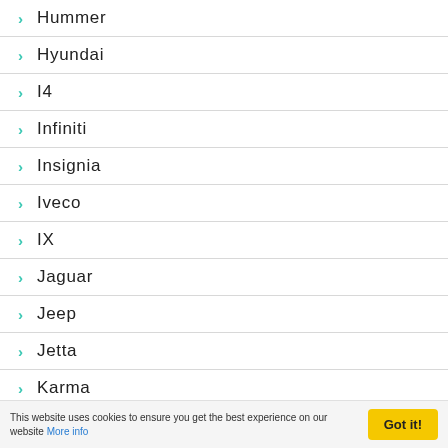Hummer
Hyundai
I4
Infiniti
Insignia
Iveco
IX
Jaguar
Jeep
Jetta
Karma
KIA
This website uses cookies to ensure you get the best experience on our website More info